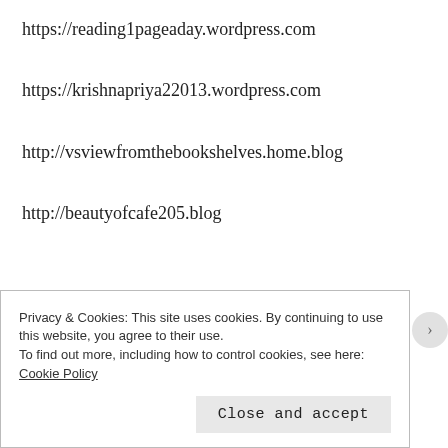https://reading1pageaday.wordpress.com
https://krishnapriya22013.wordpress.com
http://vsviewfromthebookshelves.home.blog
http://beautyofcafe205.blog
Privacy & Cookies: This site uses cookies. By continuing to use this website, you agree to their use.
To find out more, including how to control cookies, see here: Cookie Policy
Close and accept